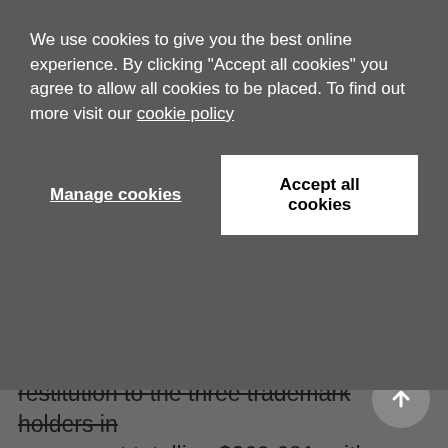We use cookies to give you the best online experience. By clicking "Accept all cookies" you agree to allow all cookies to be placed. To find out more visit our cookie policy
Manage cookies
Accept all cookies
restitution to the three trademark holders in an amount totalling $269,681, with sentencing scheduled for this week. That sentence, reports The Sacramento Bee, was duly handed down yesterday with prosecutors saying he was sentenced to six months in federal prison and ordered to surrender almost 4,500 electronics and accessories seized by federal Homeland Security investigators during a June 2018. (TL)